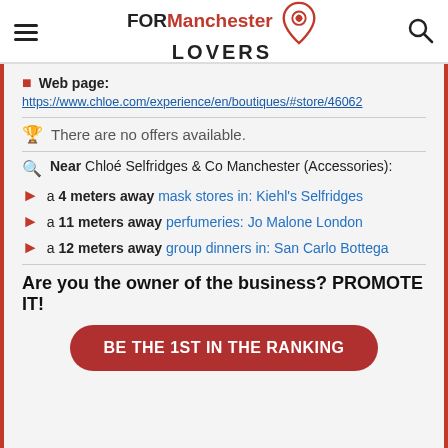FORManchester LOVERS
Web page: https://www.chloe.com/experience/en/boutiques/#store/46062
There are no offers available.
Near Chloé Selfridges & Co Manchester (Accessories):
a 4 meters away mask stores in: Kiehl's Selfridges
a 11 meters away perfumeries: Jo Malone London
a 12 meters away group dinners in: San Carlo Bottega
Are you the owner of the business? PROMOTE IT!
BE THE 1ST IN THE RANKING